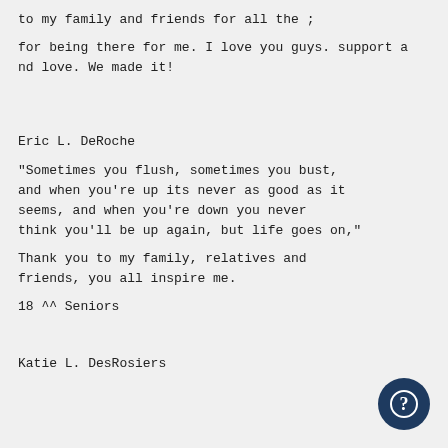to my family and friends for all the ;
for being there for me. I love you guys. support and love. We made it!
Eric L. DeRoche
"Sometimes you flush, sometimes you bust, and when you're up its never as good as it seems, and when you're down you never think you'll be up again, but life goes on,"
Thank you to my family, relatives and friends, you all inspire me.
18 ^^ Seniors
Katie L. DesRosiers